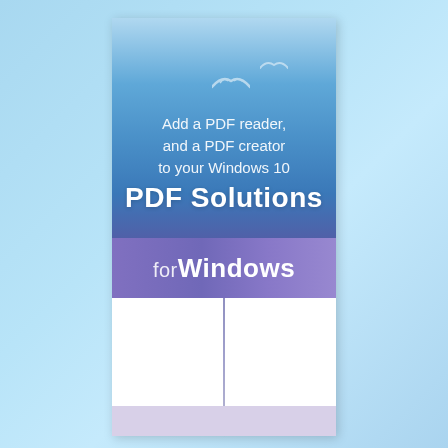[Figure (illustration): Book cover with sky blue gradient background, birds silhouettes, text overlay. Shows a document/book with blue sky top image section and purple bar below reading 'PDF Solutions for Windows 10'.]
Add a PDF reader, and a PDF creator to your Windows 10 PDF Solutions for Windows